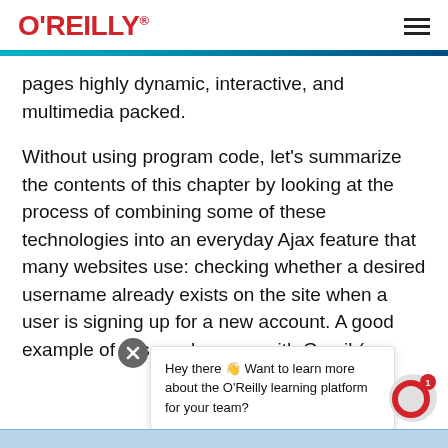O'REILLY®
pages highly dynamic, interactive, and multimedia packed.
Without using program code, let's summarize the contents of this chapter by looking at the process of combining some of these technologies into an everyday Ajax feature that many websites use: checking whether a desired username already exists on the site when a user is signing up for a new account. A good example of this can be seen with Gmail (
[Figure (screenshot): O'Reilly popup bubble notification saying 'Hey there 👋 Want to learn more about the O'Reilly learning platform for your team?' with a close button and an O'Reilly badge icon with notification dot showing '1'.]
[Figure (screenshot): Bottom blue/grey taskbar bar at the very bottom of the page.]